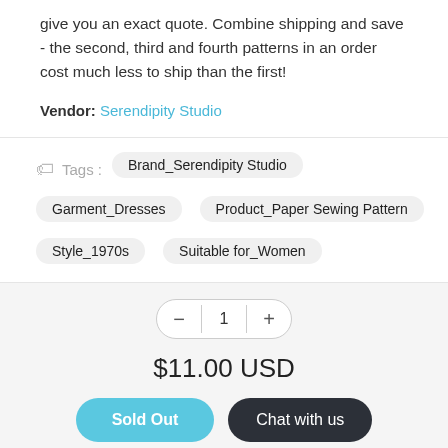give you an exact quote. Combine shipping and save - the second, third and fourth patterns in an order cost much less to ship than the first!
Vendor: Serendipity Studio
Tags : Brand_Serendipity Studio
Garment_Dresses
Product_Paper Sewing Pattern
Style_1970s
Suitable for_Women
1
$11.00 USD
Sold Out
Chat with us